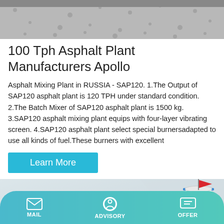[Figure (photo): Top portion of an asphalt surface or road, gray textured material, partial view cropped at top of page]
100 Tph Asphalt Plant Manufacturers Apollo
Asphalt Mixing Plant in RUSSIA - SAP120. 1.The Output of SAP120 asphalt plant is 120 TPH under standard condition. 2.The Batch Mixer of SAP120 asphalt plant is 1500 kg. 3.SAP120 asphalt mixing plant equips with four-layer vibrating screen. 4.SAP120 asphalt plant select special burnersadapted to use all kinds of fuel.These burners with excellent
Learn More
[Figure (illustration): Industrial asphalt plant illustration showing white and blue cylindrical silos/tanks with red flags on top, light gray background]
MAIL   ADVISORY   OFFER